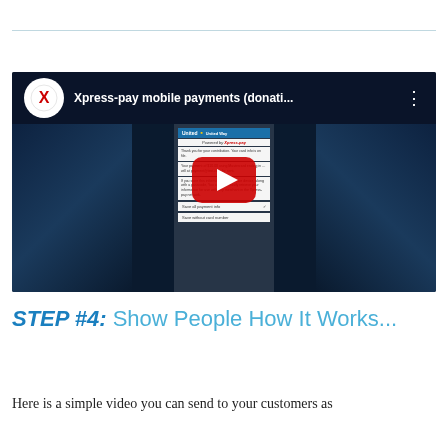[Figure (screenshot): YouTube video embed thumbnail showing Xpress-pay mobile payments (donations) video with YouTube logo, title bar, phone screen showing payment confirmation UI, and red play button. Dark blue background.]
STEP #4: Show People How It Works...
Here is a simple video you can send to your customers as